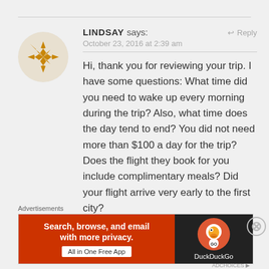[Figure (illustration): Circular avatar icon with orange/gold geometric snowflake/star pattern on light background]
LINDSAY says:
↩ Reply
October 23, 2016 at 2:39 am
Hi, thank you for reviewing your trip. I have some questions: What time did you need to wake up every morning during the trip? Also, what time does the day tend to end? You did not need more than $100 a day for the trip? Does the flight they book for you include complimentary meals? Did your flight arrive very early to the first city?
Advertisements
[Figure (screenshot): DuckDuckGo advertisement banner: orange left side with text 'Search, browse, and email with more privacy. All in One Free App', dark right side with DuckDuckGo logo and name]